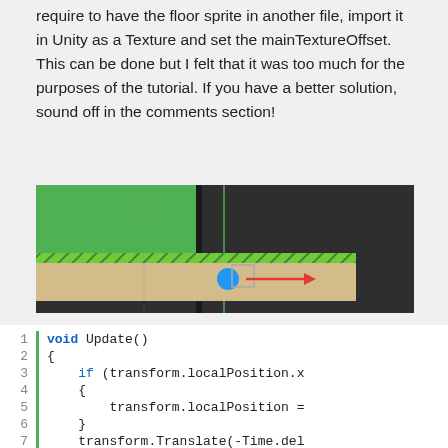require to have the floor sprite in another file, import it in Unity as a Texture and set the mainTextureOffset. This can be done but I felt that it was too much for the purposes of the tutorial. If you have a better solution, sound off in the comments section!
[Figure (screenshot): Unity editor viewport showing a green platform/sprite on a dark background, with a floor (tan/beige rectangle) in the center, a blue circle (player object) with a red arrow pointing right, and a green dashed strip at the top of the floor.]
[Figure (screenshot): Code editor screenshot showing C# Unity code: void Update() { if (transform.localPosition.x { transform.localPosition = } transform.Translate(-Time.del } (truncated lines visible)]